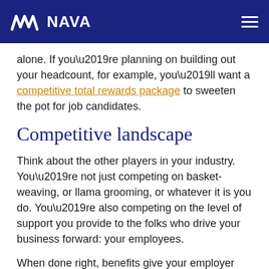NAVA
alone. If you’re planning on building out your headcount, for example, you’ll want a competitive total rewards package to sweeten the pot for job candidates.
Competitive landscape
Think about the other players in your industry. You’re not just competing on basket-weaving, or llama grooming, or whatever it is you do. You’re also competing on the level of support you provide to the folks who drive your business forward: your employees.
When done right, benefits give your employer the